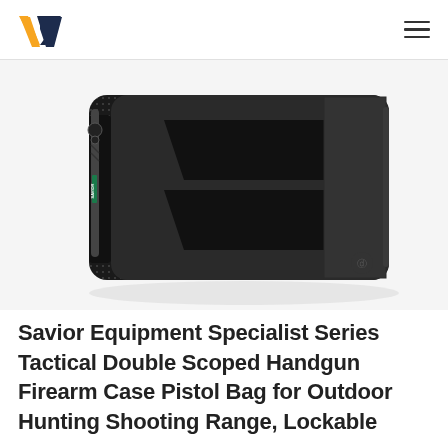W [logo] | hamburger menu
[Figure (photo): Black tactical double scoped handgun firearm case pistol bag by Savior Equipment, shown from a slight angle, with two diagonal velcro straps on the front, a zipper pull on the left side, and a logo on the lower right. The case rests on a white/light grey surface.]
Savior Equipment Specialist Series Tactical Double Scoped Handgun Firearm Case Pistol Bag for Outdoor Hunting Shooting Range, Lockable